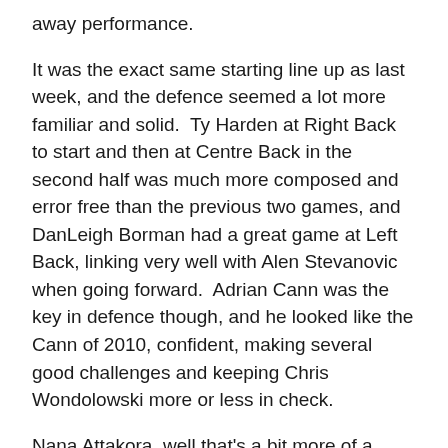away performance.
It was the exact same starting line up as last week, and the defence seemed a lot more familiar and solid.  Ty Harden at Right Back to start and then at Centre Back in the second half was much more composed and error free than the previous two games, and DanLeigh Borman had a great game at Left Back, linking very well with Alen Stevanovic when going forward.  Adrian Cann was the key in defence though, and he looked like the Cann of 2010, confident, making several good challenges and keeping Chris Wondolowski more or less in check.
Nana Attakora, well that's a bit more of a puzzle.  For the second straight game, Attakora was substituted in what Aron Winter confirmed was a tactical decision.